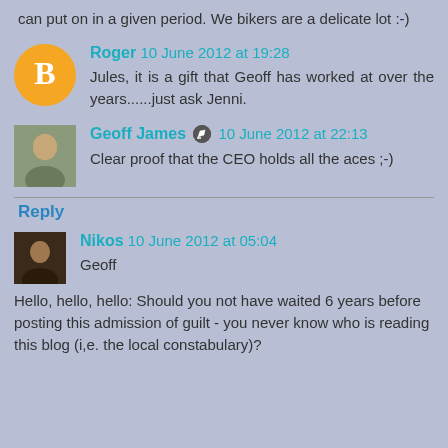can put on in a given period. We bikers are a delicate lot :-)
Roger 10 June 2012 at 19:28
Jules, it is a gift that Geoff has worked at over the years......just ask Jenni.
Geoff James 10 June 2012 at 22:13
Clear proof that the CEO holds all the aces ;-)
Reply
Nikos 10 June 2012 at 05:04
Geoff

Hello, hello, hello: Should you not have waited 6 years before posting this admission of guilt - you never know who is reading this blog (i,e. the local constabulary)?